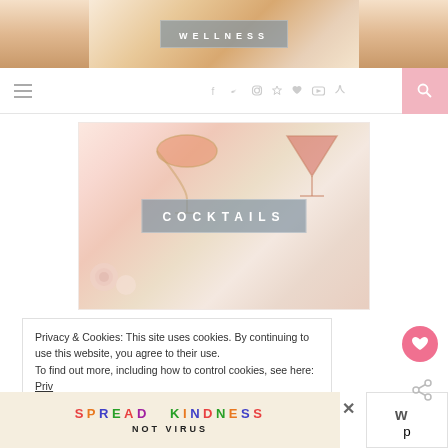[Figure (photo): Top banner showing a person meditating with 'WELLNESS' label overlay]
[Figure (screenshot): Navigation bar with hamburger menu, social icons (f, twitter, instagram, pinterest, heart, youtube, rss), and pink search button]
[Figure (photo): Cocktails category image showing two pink cocktail drinks with roses and a 'COCKTAILS' label overlay]
Privacy & Cookies: This site uses cookies. By continuing to use this website, you agree to their use.
To find out more, including how to control cookies, see here: Privacy Policy
[Figure (infographic): Advertisement banner with colorful 'SPREAD KINDNESS NOT VIRUS' text]